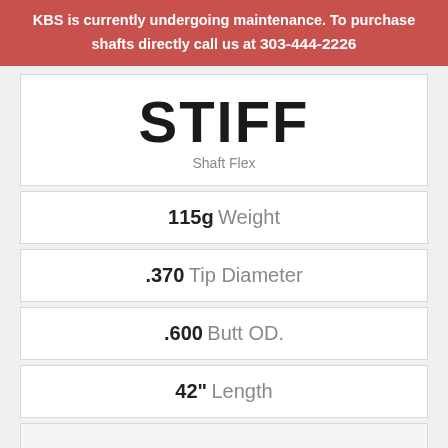KBS is currently undergoing maintenance. To purchase shafts directly call us at 303-444-2226
STIFF
Shaft Flex
115g Weight
.370 Tip Diameter
.600 Butt OD.
42" Length
2i - 9i, PW, SW